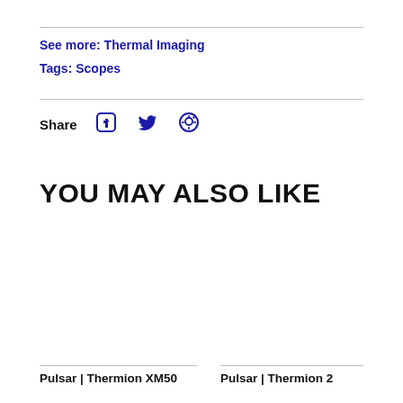See more: Thermal Imaging
Tags: Scopes
Share
YOU MAY ALSO LIKE
Pulsar | Thermion XM50
Pulsar | Thermion 2